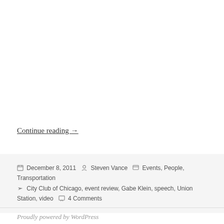Continue reading →
December 8, 2011  Steven Vance  Events, People, Transportation  City Club of Chicago, event review, Gabe Klein, speech, Union Station, video  4 Comments
Proudly powered by WordPress